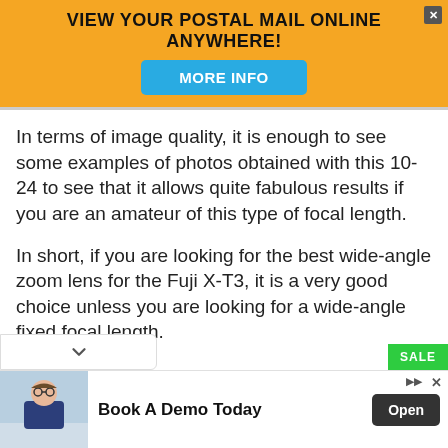[Figure (infographic): Yellow advertisement banner with text 'VIEW YOUR POSTAL MAIL ONLINE ANYWHERE!' and a blue 'MORE INFO' button, with an X close button in the top right corner.]
In terms of image quality, it is enough to see some examples of photos obtained with this 10-24 to see that it allows quite fabulous results if you are an amateur of this type of focal length.
In short, if you are looking for the best wide-angle zoom lens for the Fuji X-T3, it is a very good choice unless you are looking for a wide-angle fixed focal length.
[Figure (infographic): Bottom advertisement banner for 'Book A Demo Today' with a photo of a man in glasses and an 'Open' button. Contains Nota branding at the bottom left.]